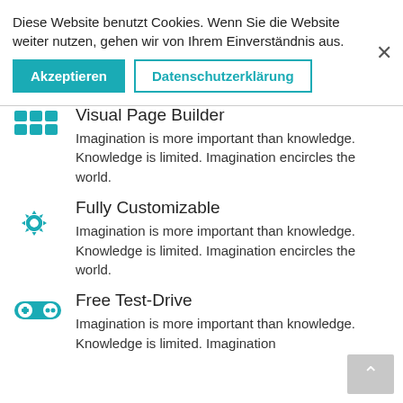1000briefe.de
Diese Website benutzt Cookies. Wenn Sie die Website weiter nutzen, gehen wir von Ihrem Einverständnis aus.
Akzeptieren | Datenschutzerklärung
Imagination is more important than knowledge. Knowledge is limited. Imagination encircles the world.
Visual Page Builder
Imagination is more important than knowledge. Knowledge is limited. Imagination encircles the world.
Fully Customizable
Imagination is more important than knowledge. Knowledge is limited. Imagination encircles the world.
Free Test-Drive
Imagination is more important than knowledge. Knowledge is limited. Imagination